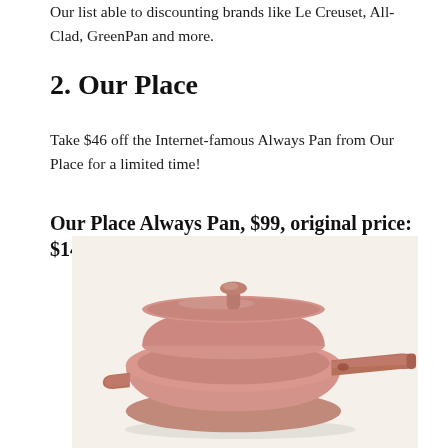Our list able to discounting brands like Le Creuset, All-Clad, GreenPan and more.
2. Our Place
Take $46 off the Internet-famous Always Pan from Our Place for a limited time!
Our Place Always Pan, $99, original price: $145
[Figure (photo): Photo of the Our Place Always Pan in a terracotta/blush pink color with a matching lid and long handle, shown on a light cream background.]